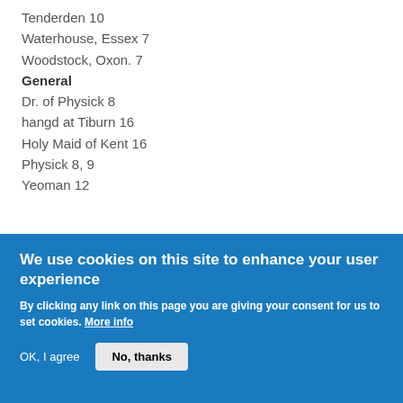Tenderden 10
Waterhouse, Essex 7
Woodstock, Oxon. 7
General
Dr. of Physick 8
hangd at Tiburn 16
Holy Maid of Kent 16
Physick 8, 9
Yeoman 12
We use cookies on this site to enhance your user experience
By clicking any link on this page you are giving your consent for us to set cookies. More info
OK, I agree
No, thanks